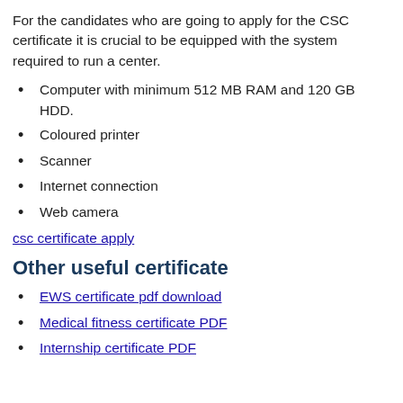For the candidates who are going to apply for the CSC certificate it is crucial to be equipped with the system required to run a center.
Computer with minimum 512 MB RAM and 120 GB HDD.
Coloured printer
Scanner
Internet connection
Web camera
csc certificate apply
Other useful certificate
EWS certificate pdf download
Medical fitness certificate PDF
Internship certificate PDF